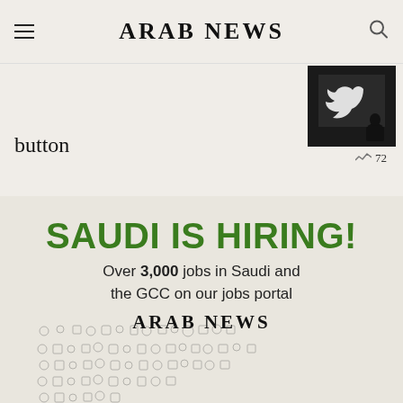ARAB NEWS
button
[Figure (photo): Dark photo showing Twitter bird logo sign with silhouette of a person]
72
[Figure (infographic): Arab News jobs advertisement: SAUDI IS HIRING! Over 3,000 jobs in Saudi and the GCC on our jobs portal. Arab News logo with icon cluster of job category symbols.]